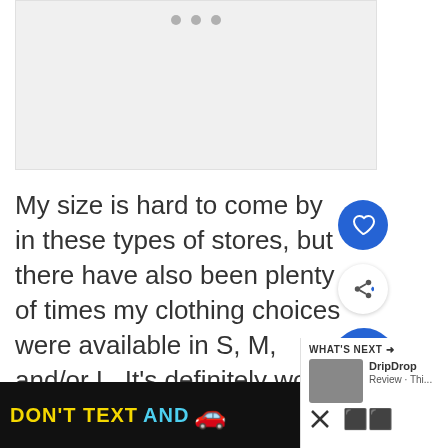[Figure (photo): Gray placeholder image with three dots at the top indicating a slideshow or image carousel]
My size is hard to come by in these types of stores, but there have also been plenty of times my clothing choices were available in S, M, and/or L. It's definitely worth looking.
My favorite items to shop fo
[Figure (infographic): Advertisement banner reading DON'T TEXT AND [car emoji] with NHTSA branding and an ad label]
[Figure (infographic): What's Next panel showing DripDrop Review thumbnail with close button]